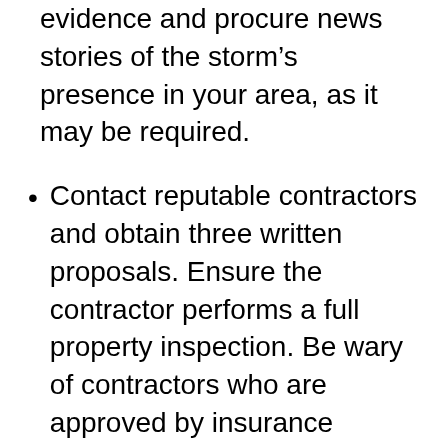evidence and procure news stories of the storm's presence in your area, as it may be required.
Contact reputable contractors and obtain three written proposals. Ensure the contractor performs a full property inspection. Be wary of contractors who are approved by insurance companies, as they may have a financial incentive to save the insurance company money.
Familiarize yourself with your insurance policy and contact your insurance company's claims department. Be prepared to provide evidence, including your contractor's estimate. Record the names of